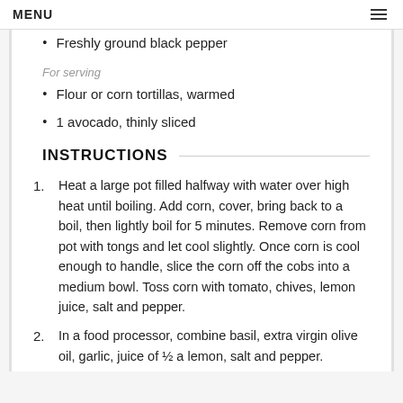MENU
Freshly ground black pepper
For serving
Flour or corn tortillas, warmed
1 avocado, thinly sliced
INSTRUCTIONS
Heat a large pot filled halfway with water over high heat until boiling. Add corn, cover, bring back to a boil, then lightly boil for 5 minutes. Remove corn from pot with tongs and let cool slightly. Once corn is cool enough to handle, slice the corn off the cobs into a medium bowl. Toss corn with tomato, chives, lemon juice, salt and pepper.
In a food processor, combine basil, extra virgin olive oil, garlic, juice of ½ a lemon, salt and pepper.